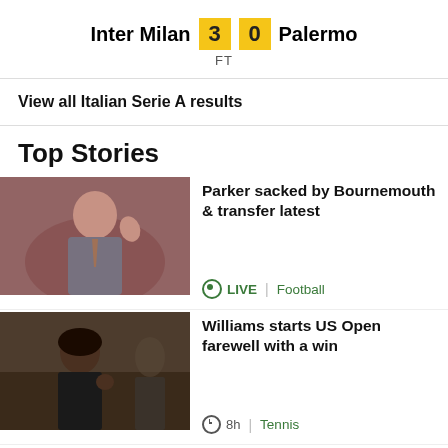Inter Milan 3 0 Palermo FT
View all Italian Serie A results
Top Stories
[Figure (photo): A man in a suit waving his hand, appearing to be a football manager]
Parker sacked by Bournemouth & transfer latest
LIVE | Football
[Figure (photo): Serena Williams smiling and gesturing at what appears to be a tennis venue]
Williams starts US Open farewell with a win
8h | Tennis